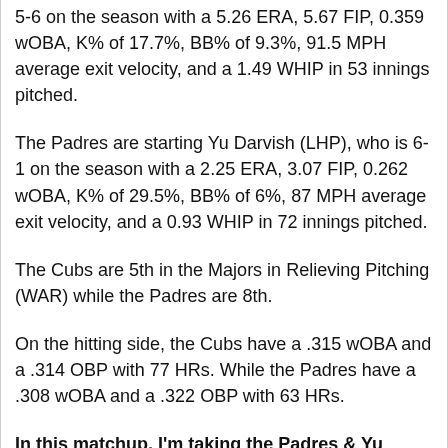5-6 on the season with a 5.26 ERA, 5.67 FIP, 0.359 wOBA, K% of 17.7%, BB% of 9.3%, 91.5 MPH average exit velocity, and a 1.49 WHIP in 53 innings pitched.
The Padres are starting Yu Darvish (LHP), who is 6-1 on the season with a 2.25 ERA, 3.07 FIP, 0.262 wOBA, K% of 29.5%, BB% of 6%, 87 MPH average exit velocity, and a 0.93 WHIP in 72 innings pitched.
The Cubs are 5th in the Majors in Relieving Pitching (WAR) while the Padres are 8th.
On the hitting side, the Cubs have a .315 wOBA and a .314 OBP with 77 HRs. While the Padres have a .308 wOBA and a .322 OBP with 63 HRs.
In this matchup, I'm taking the Padres & Yu